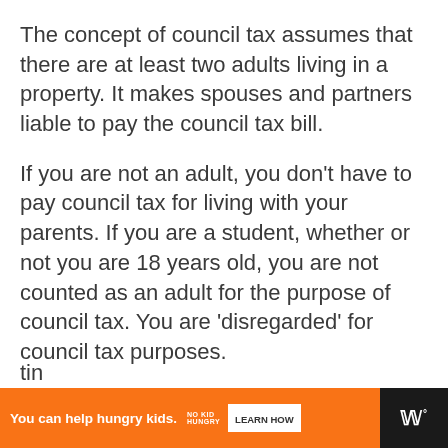The concept of council tax assumes that there are at least two adults living in a property. It makes spouses and partners liable to pay the council tax bill.
If you are not an adult, you don't have to pay council tax for living with your parents. If you are a student, whether or not you are 18 years old, you are not counted as an adult for the purpose of council tax. You are 'disregarded' for council tax purposes.
In fact, if you are a student, either in full-
[Figure (other): Advertisement banner: orange background with text 'You can help hungry kids.' alongside No Kid Hungry logo and a 'LEARN HOW' button. A close button (X) and a dark icon with stylized W and degree symbol on the right.]